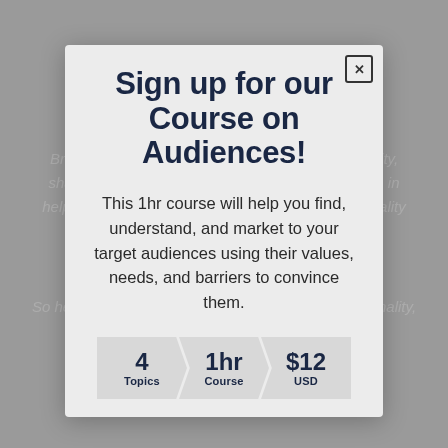Sign up for our Course on Audiences!
This 1hr course will help you find, understand, and market to your target audiences using their values, needs, and barriers to convince them.
4 Topics | 1hr Course | $12 USD